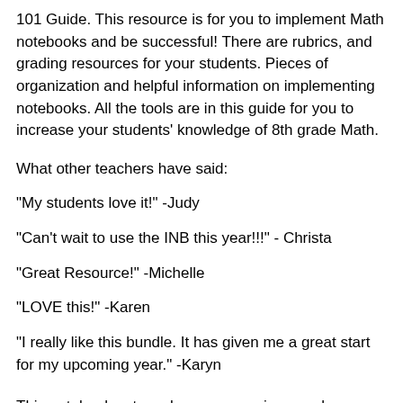101 Guide. This resource is for you to implement Math notebooks and be successful! There are rubrics, and grading resources for your students. Pieces of organization and helpful information on implementing notebooks. All the tools are in this guide for you to increase your students' knowledge of 8th grade Math.
What other teachers have said:
"My students love it!" -Judy
"Can't wait to use the INB this year!!!" - Christa
"Great Resource!" -Michelle
"LOVE this!" -Karen
"I really like this bundle. It has given me a great start for my upcoming year." -Karyn
This notebook set can be a success in your classroom too!